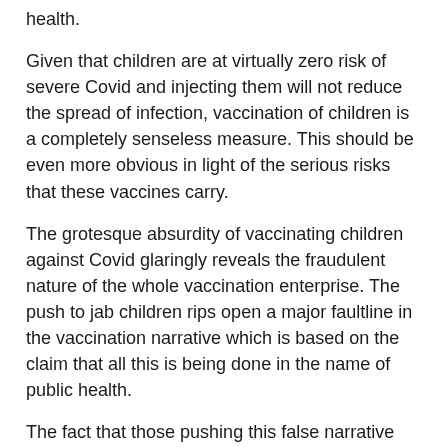health.
Given that children are at virtually zero risk of severe Covid and injecting them will not reduce the spread of infection, vaccination of children is a completely senseless measure. This should be even more obvious in light of the serious risks that these vaccines carry.
The grotesque absurdity of vaccinating children against Covid glaringly reveals the fraudulent nature of the whole vaccination enterprise. The push to jab children rips open a major faultline in the vaccination narrative which is based on the claim that all this is being done in the name of public health.
The fact that those pushing this false narrative are willing to play with the lives of children in exchange for no demonstrable health benefits to either children or society exposes the sinister nature of the forces that drive this process.
The drive to inject children exposes the vaccination enterprise